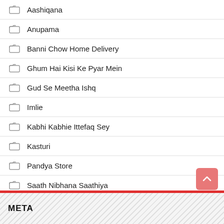Aashiqana
Anupama
Banni Chow Home Delivery
Ghum Hai Kisi Ke Pyar Mein
Gud Se Meetha Ishq
Imlie
Kabhi Kabhie Ittefaq Sey
Kasturi
Pandya Store
Saath Nibhana Saathiya
Yeh Hai Chahatein
Yeh Jhuki Jhuki Si Nazar
Yeh Rishta Kya Kehlata Hai
META